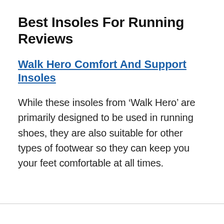Best Insoles For Running Reviews
Walk Hero Comfort And Support Insoles
While these insoles from ‘Walk Hero’ are primarily designed to be used in running shoes, they are also suitable for other types of footwear so they can keep you your feet comfortable at all times.